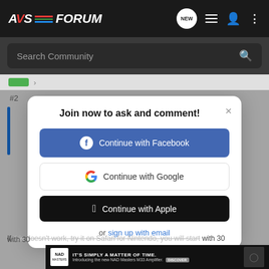[Figure (screenshot): AVSForum website header with logo and navigation icons]
[Figure (screenshot): Search Community bar with magnifying glass icon]
Join now to ask and comment!
[Figure (screenshot): Continue with Facebook button (blue)]
[Figure (screenshot): Continue with Google button (white with Google G logo)]
[Figure (screenshot): Continue with Apple button (black)]
or sign up with email
If this doesn't work, try it on Safari for Nintendo, you will start with 30
[Figure (screenshot): NAD Masters M33 Amplifier advertisement banner]